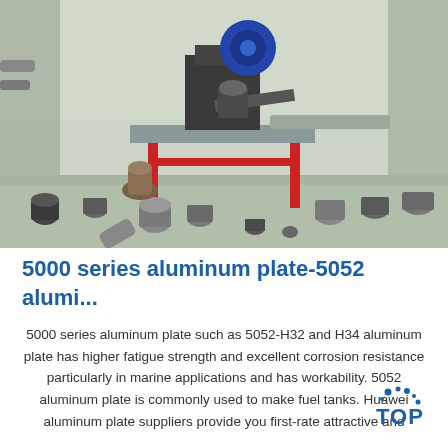[Figure (photo): Industrial workshop photo showing a metal cutting or fabricating machine (likely a pipe cutting machine) on a red-legged table, surrounded by various metal tubes, cylinders, and pipe fittings on a concrete floor with metal shavings scattered around.]
5000 series aluminum plate-5052 alumi...
5000 series aluminum plate such as 5052-H32 and H34 aluminum plate has higher fatigue strength and excellent corrosion resistance particularly in marine applications and has workability. 5052 aluminum plate is commonly used to make fuel tanks. Huawei aluminum plate suppliers provide you first-rate attractive and